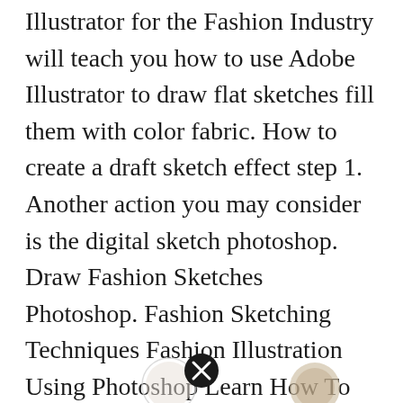Illustrator for the Fashion Industry will teach you how to use Adobe Illustrator to draw flat sketches fill them with color fabric. How to create a draft sketch effect step 1. Another action you may consider is the digital sketch photoshop. Draw Fashion Sketches Photoshop. Fashion Sketching Techniques Fashion Illustration Using Photoshop Learn How To Dr Fashion Illustration Sketches Fashion Illustration Fashion Design Sketches.
[Figure (other): Partial view of thumbnail images at the bottom of the page with a close/cancel circle icon in the center]